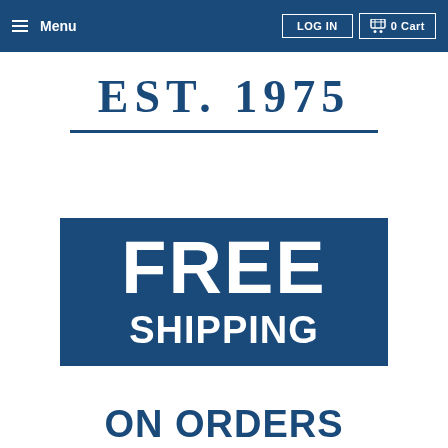≡ Menu | LOG IN | 🛒 0 Cart
EST. 1975
[Figure (infographic): Blue square banner with large white bold text reading FREE SHIPPING]
ON ORDERS